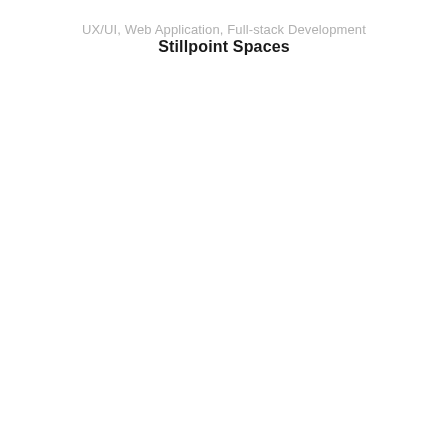UX/UI, Web Application, Full-stack Development
Stillpoint Spaces